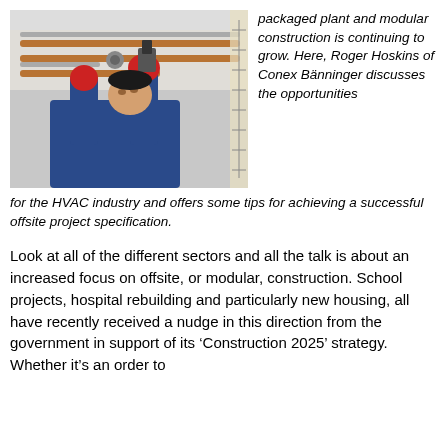[Figure (photo): A worker in a blue shirt and red gloves uses a press tool to connect copper pipes on an overhead piping installation.]
packaged plant and modular construction is continuing to grow. Here, Roger Hoskins of Conex Bänninger discusses the opportunities for the HVAC industry and offers some tips for achieving a successful offsite project specification.
Look at all of the different sectors and all the talk is about an increased focus on offsite, or modular, construction. School projects, hospital rebuilding and particularly new housing, all have recently received a nudge in this direction from the government in support of its 'Construction 2025' strategy. Whether it's an order to